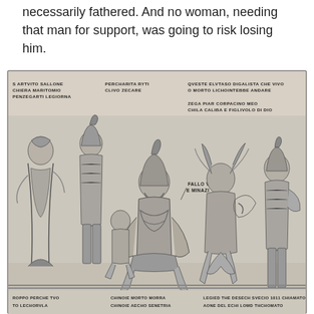necessarily fathered. And no woman, needing that man for support, was going to risk losing him.
[Figure (illustration): Historical engraving depicting a procession of fantastical figures including armored warriors, a seated bearded figure on an ornate throne-like chair with serpentine decorations, horned demonic creatures, and other mythological beings. Text labels in old Italian appear above figures including 'ARTVITO BALLONE CHIERA MARITOMIO PENZEGARTI LEGIORNA', 'PERCHARITA RYTI CLIVO ZECARE', 'QVESTE ELVTASO DIGALISTA CHE VIVO O MORTO LICHOINTEBBE ANDARE', 'ZEGA PIAR CORPACINO MEO CHILA CALIBA E FIGLIVOLO DI DIO', 'FALLO VENI E MINAZI', and partial text at bottom 'ROPPO PERCHE TVO... CHINORE MORTO MORRA... LEGIED THE DESECH SVECIO 1011 CHIAMATO' and additional partial text.]